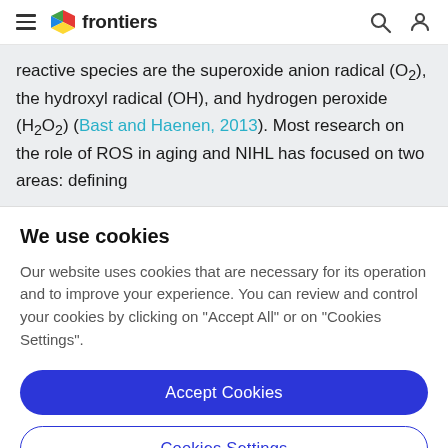frontiers
reactive species are the superoxide anion radical (O2), the hydroxyl radical (OH), and hydrogen peroxide (H2O2) (Bast and Haenen, 2013). Most research on the role of ROS in aging and NIHL has focused on two areas: defining
We use cookies
Our website uses cookies that are necessary for its operation and to improve your experience. You can review and control your cookies by clicking on "Accept All" or on "Cookies Settings".
Accept Cookies
Cookies Settings